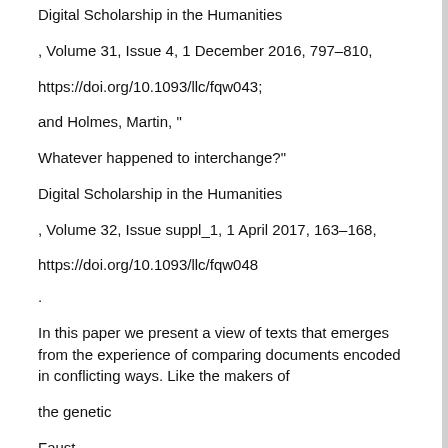Digital Scholarship in the Humanities
, Volume 31, Issue 4, 1 December 2016, 797–810,
https://doi.org/10.1093/llc/fqw043;
and Holmes, Martin, "
Whatever happened to interchange?"
Digital Scholarship in the Humanities
, Volume 32, Issue suppl_1, 1 April 2017, 163–168,
https://doi.org/10.1093/llc/fqw048
.
In this paper we present a view of texts that emerges from the experience of comparing documents encoded in conflicting ways. Like the makers of
the genetic
Faust